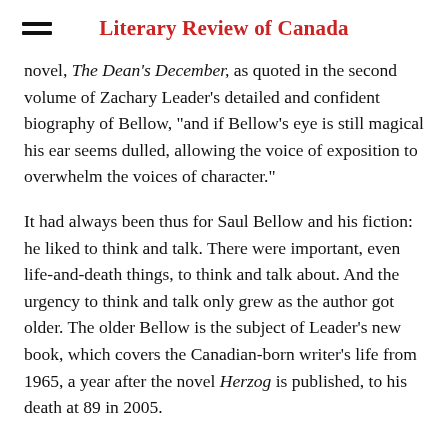Literary Review of Canada
novel, The Dean's December, as quoted in the second volume of Zachary Leader's detailed and confident biography of Bellow, “and if Bellow’s eye is still magical his ear seems dulled, allowing the voice of exposition to overwhelm the voices of character.”
It had always been thus for Saul Bellow and his fiction: he liked to think and talk. There were important, even life-and-death things, to think and talk about. And the urgency to think and talk only grew as the author got older. The older Bellow is the subject of Leader’s new book, which covers the Canadian-born writer’s life from 1965, a year after the novel Herzog is published, to his death at 89 in 2005.